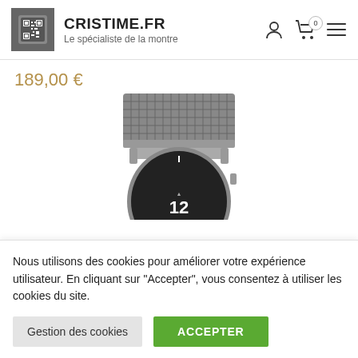CRISTIME.FR — Le spécialiste de la montre
189,00 €
[Figure (photo): Close-up photo of a watch with a metal mesh bracelet and a round black dial, cropped at the top portion showing the bracelet and upper case.]
Nous utilisons des cookies pour améliorer votre expérience utilisateur. En cliquant sur "Accepter", vous consentez à utiliser les cookies du site.
Gestion des cookies
ACCEPTER